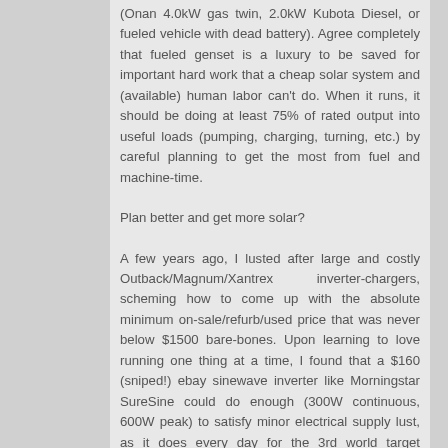(Onan 4.0kW gas twin, 2.0kW Kubota Diesel, or fueled vehicle with dead battery). Agree completely that fueled genset is a luxury to be saved for important hard work that a cheap solar system and (available) human labor can't do. When it runs, it should be doing at least 75% of rated output into useful loads (pumping, charging, turning, etc.) by careful planning to get the most from fuel and machine-time.
Plan better and get more solar?
A few years ago, I lusted after large and costly Outback/Magnum/Xantrex inverter-chargers, scheming how to come up with the absolute minimum on-sale/refurb/used price that was never below $1500 bare-bones. Upon learning to love running one thing at a time, I found that a $160 (sniped!) ebay sinewave inverter like Morningstar SureSine could do enough (300W continuous, 600W peak) to satisfy minor electrical supply lust, as it does every day for the 3rd world target audience. Taiwan-made without